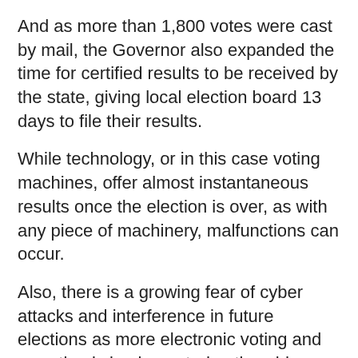And as more than 1,800 votes were cast by mail, the Governor also expanded the time for certified results to be received by the state, giving local election board 13 days to file their results.
While technology, or in this case voting machines, offer almost instantaneous results once the election is over, as with any piece of machinery, malfunctions can occur.
Also, there is a growing fear of cyber attacks and interference in future elections as more electronic voting and reporting is implemented nationwide.
While our 'voting by mail' system isn't without its own flaws - and costs - one might surmise that it would be much harder for interference on a larger scale to occur.